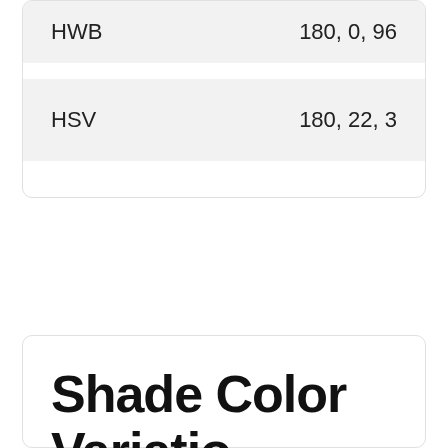| Property | Value |
| --- | --- |
| HWB | 180, 0, 96 |
| HSV | 180, 22, 3 |
Shade Color Variation